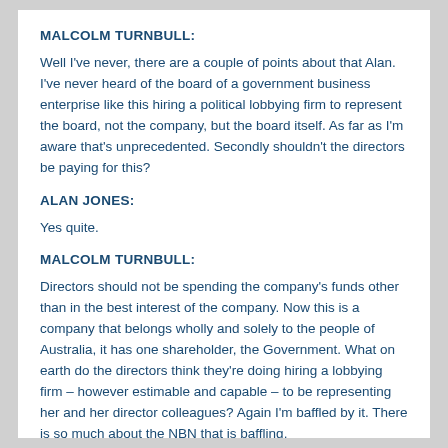MALCOLM TURNBULL:
Well I've never, there are a couple of points about that Alan. I've never heard of the board of a government business enterprise like this hiring a political lobbying firm to represent the board, not the company, but the board itself. As far as I'm aware that's unprecedented. Secondly shouldn't the directors be paying for this?
ALAN JONES:
Yes quite.
MALCOLM TURNBULL:
Directors should not be spending the company's funds other than in the best interest of the company. Now this is a company that belongs wholly and solely to the people of Australia, it has one shareholder, the Government. What on earth do the directors think they're doing hiring a lobbying firm – however estimable and capable – to be representing her and her director colleagues? Again I'm baffled by it. There is so much about the NBN that is baffling.